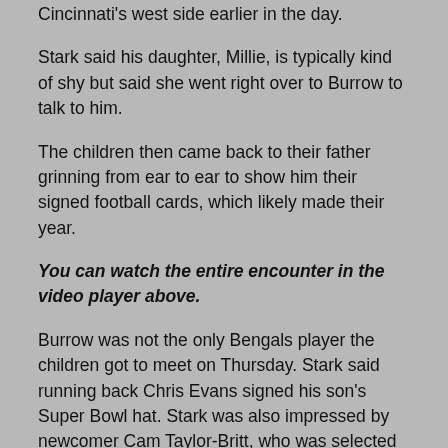Cincinnati's west side earlier in the day.
Stark said his daughter, Millie, is typically kind of shy but said she went right over to Burrow to talk to him.
The children then came back to their father grinning from ear to ear to show him their signed football cards, which likely made their year.
You can watch the entire encounter in the video player above.
Burrow was not the only Bengals player the children got to meet on Thursday. Stark said running back Chris Evans signed his son's Super Bowl hat. Stark was also impressed by newcomer Cam Taylor-Britt, who was selected by the Bengals in the second round of the NFL draft. According to Stark, Taylor-Britt got all the way out of his vehicle to greet the children, which is a good way to make a lasting impression.